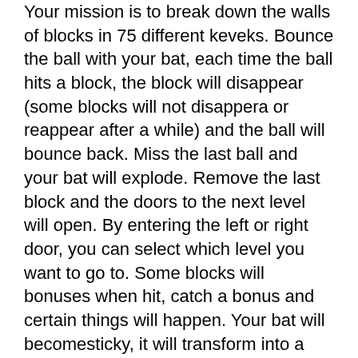Your mission is to break down the walls of blocks in 75 different keveks. Bounce the ball with your bat, each time the ball hits a block, the block will disappear (some blocks will not disappera or reappear after a while) and the ball will bounce back. Miss the last ball and your bat will explode. Remove the last block and the doors to the next level will open. By entering the left or right door, you can select which level you want to go to. Some blocks will bonuses when hit, catch a bonus and certain things will happen. Your bat will becomesticky, it will transform into a laser bat, it will become bigger (or smaller) and so on.
In the main menu you have three buttons, “Start”, “Demo” and “Exit”. Choose “Start” and the game will start, choose “Demo” and you will be shown a demo and choose “Exit” to